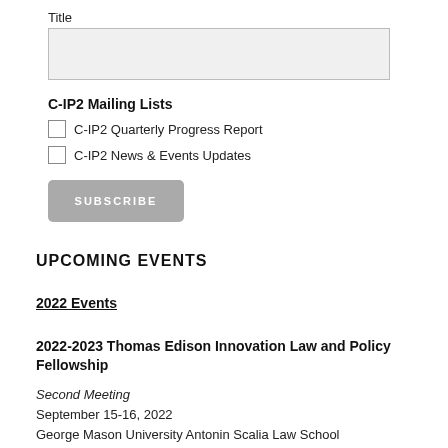Title
C-IP2 Mailing Lists
C-IP2 Quarterly Progress Report
C-IP2 News & Events Updates
SUBSCRIBE
UPCOMING EVENTS
2022 Events
2022-2023 Thomas Edison Innovation Law and Policy Fellowship
Second Meeting
September 15-16, 2022
George Mason University Antonin Scalia Law School